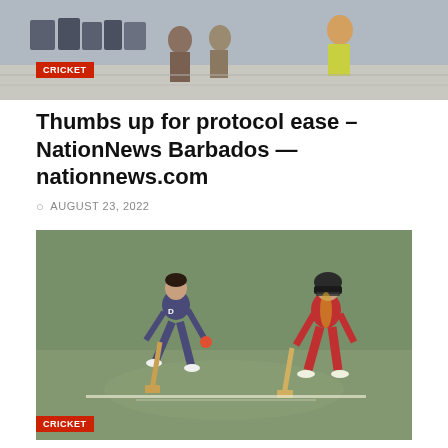[Figure (photo): Top portion of a cricket-related photo showing people at what appears to be an airport or indoor venue, partially cropped. A red 'CRICKET' label badge overlaid at bottom-left of the image.]
Thumbs up for protocol ease – NationNews Barbados — nationnews.com
AUGUST 23, 2022
[Figure (photo): Cricket match photo showing two players on a green cricket ground: one in blue (India) kit mid-action bowling or batting, and another in red (Zimbabwe) kit walking. A red 'CRICKET' label is overlaid at the bottom-left.]